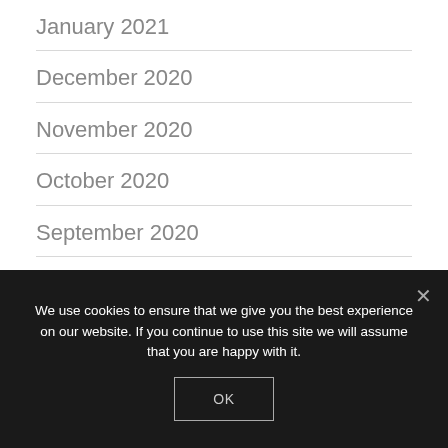January 2021
December 2020
November 2020
October 2020
September 2020
August 2020
July 2020
We use cookies to ensure that we give you the best experience on our website. If you continue to use this site we will assume that you are happy with it.
OK